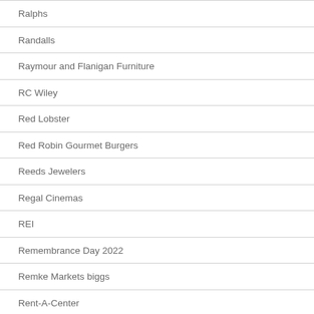Ralphs
Randalls
Raymour and Flanigan Furniture
RC Wiley
Red Lobster
Red Robin Gourmet Burgers
Reeds Jewelers
Regal Cinemas
REI
Remembrance Day 2022
Remke Markets biggs
Rent-A-Center
Restoration Hardware
RibCrib BBQ